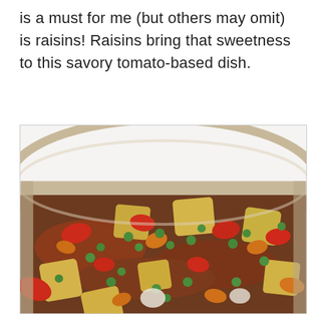is a must for me (but others may omit) is raisins! Raisins bring that sweetness to this savory tomato-based dish.
[Figure (photo): A close-up photo of a pan or dish containing a colorful cooked mixture with ground meat, diced potatoes, green peas, red bell peppers, and carrots — resembling a Filipino picadillo or similar tomato-based meat and vegetable dish.]